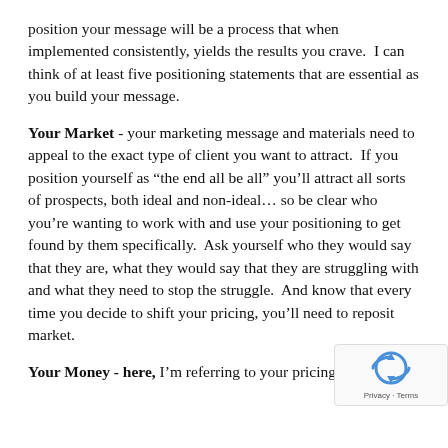position your message will be a process that when implemented consistently, yields the results you crave.  I can think of at least five positioning statements that are essential as you build your message.
Your Market - your marketing message and materials need to appeal to the exact type of client you want to attract.  If you position yourself as “the end all be all” you’ll attract all sorts of prospects, both ideal and non-ideal… so be clear who you’re wanting to work with and use your positioning to get found by them specifically.  Ask yourself who they would say that they are, what they would say that they are struggling with and what they need to stop the struggle.  And know that every time you decide to shift your pricing, you’ll need to reposit… market.
Your Money - here, I’m referring to your pricing.  If your